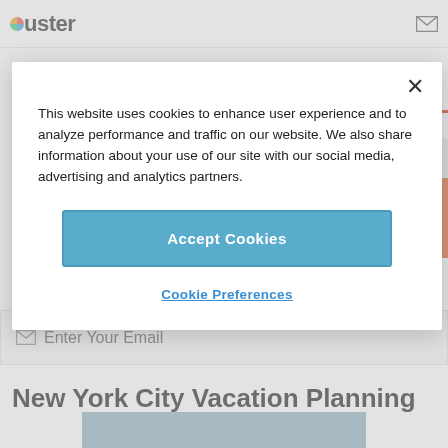Ouster
This website uses cookies to enhance user experience and to analyze performance and traffic on our website. We also share information about your use of our site with our social media, advertising and analytics partners.
Accept Cookies
Cookie Preferences
Enter Your Email
New York City Vacation Planning
[Figure (photo): Partial view of a room interior, ceiling visible, bluish tones]